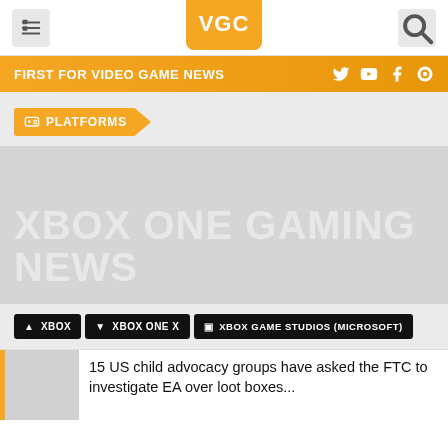VGC
FIRST FOR VIDEO GAME NEWS
PLATFORMS
XBOX ONE GAMING NEWS
▲ XBOX
▼ XBOX ONE X
▣ XBOX GAME STUDIOS (MICROSOFT)
15 US child advocacy groups have asked the FTC to investigate EA over loot boxes...